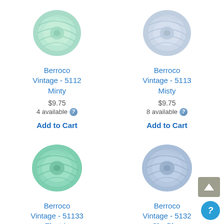[Figure (photo): Skein of mint green yarn - Berroco Vintage 5112 Minty]
[Figure (photo): Skein of light gray-blue yarn - Berroco Vintage 5113 Misty]
Berroco Vintage - 5112 Minty
$9.75
4 available
Add to Cart
Berroco Vintage - 5113 Misty
$9.75
8 available
Add to Cart
[Figure (photo): Skein of teal/aqua green yarn - Berroco Vintage 51133 Electric]
[Figure (photo): Skein of light blue yarn - Berroco Vintage 5132 Sky Blue]
Berroco Vintage - 51133 Electric
Berroco Vintage - 5132 Sky Blue